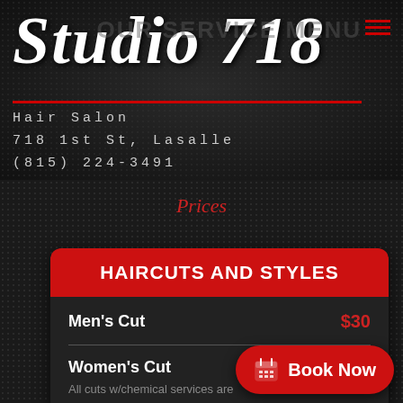Studio 718
Hair Salon
718 1st St, Lasalle
(815) 224-3491
OUR SERVICE MENU
Prices
| Service | Price |
| --- | --- |
| Men's Cut | $30 |
| Women's Cut |  |
| All cuts w/chemical services are |  |